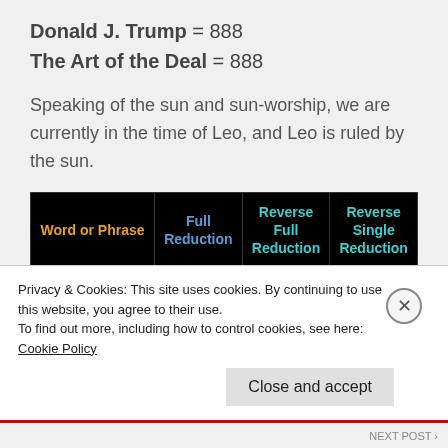Donald J. Trump = 888
The Art of the Deal = 888
Speaking of the sun and sun-worship, we are currently in the time of Leo, and Leo is ruled by the sun.
| Word or Phrase | Full Reduction | Reverse Full Reduction | Reverse Single Reduction |
| --- | --- | --- | --- |
| Mar-a-Lago | 32 | 49 | 49 |
Privacy & Cookies: This site uses cookies. By continuing to use this website, you agree to their use.
To find out more, including how to control cookies, see here: Cookie Policy
Close and accept